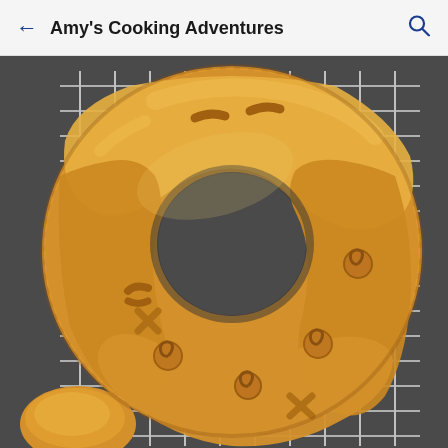Amy's Cooking Adventures
[Figure (photo): A golden-brown braided bread wreath decorated with small spiral and crosshatch dough ornaments, resting on a wire cooling rack. A small round bread roll is visible in the bottom-left corner.]